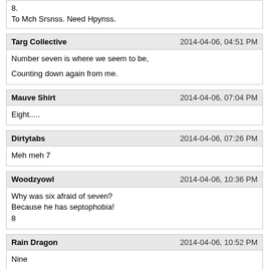8.
To Mch Srsnss. Need Hpynss.
Targ Collective
2014-04-06, 04:51 PM
Number seven is where we seem to be,
Counting down again from me.
Mauve Shirt
2014-04-06, 07:04 PM
Eight.....
Dirtytabs
2014-04-06, 07:26 PM
Meh meh 7
Woodzyowl
2014-04-06, 10:36 PM
Why was six afraid of seven?
Because he has septophobia!
8
Rain Dragon
2014-04-06, 10:52 PM
Nine
Ah Silly Message Board Games... It's been a while.
Grif
2014-04-07, 03:15 AM
Eight? Eight!